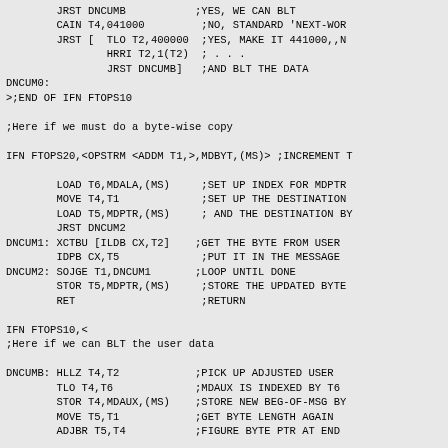Assembly source code listing showing DNCUM0, DNCUM1, DNCUM2, DNCUMB routines with comments about byte-wise copy and BLT operations